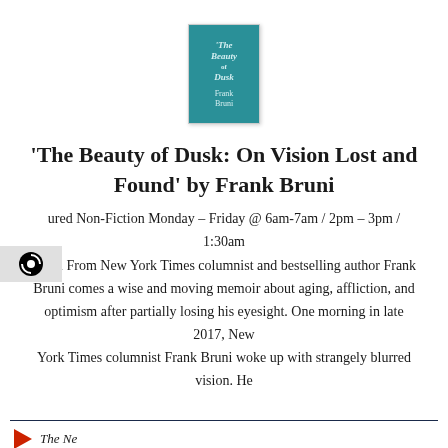[Figure (illustration): Book cover of 'The Beauty of Dusk' by Frank Bruni — teal/dark cyan background with white italic title text and author name]
'The Beauty of Dusk: On Vision Lost and Found' by Frank Bruni
ured Non-Fiction Monday – Friday @ 6am-7am / 2pm – 3pm / 1:30am 30am From New York Times columnist and bestselling author Frank Bruni comes a wise and moving memoir about aging, affliction, and optimism after partially losing his eyesight. One morning in late 2017, New York Times columnist Frank Bruni woke up with strangely blurred vision. He